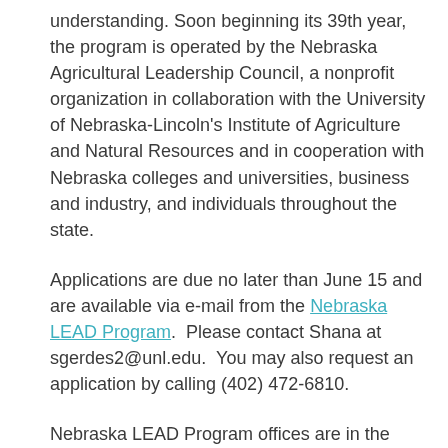understanding. Soon beginning its 39th year, the program is operated by the Nebraska Agricultural Leadership Council, a nonprofit organization in collaboration with the University of Nebraska-Lincoln's Institute of Agriculture and Natural Resources and in cooperation with Nebraska colleges and universities, business and industry, and individuals throughout the state.
Applications are due no later than June 15 and are available via e-mail from the Nebraska LEAD Program. Please contact Shana at sgerdes2@unl.edu. You may also request an application by calling (402) 472-6810.
Nebraska LEAD Program offices are in the Institute of Agriculture and Natural Resources at the University of Nebraska-Lincoln. If you are even thinking about applying, contact me and I'd be more than happy to share my experience with you and it will only enhance this life...